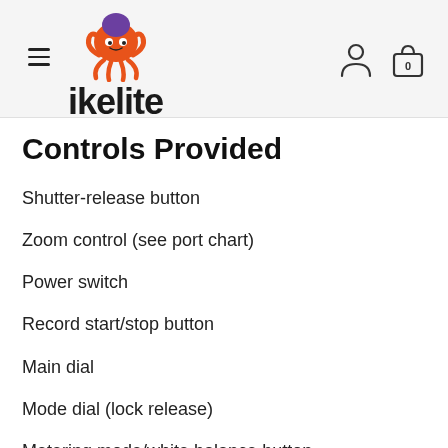ikelite
Controls Provided
Shutter-release button
Zoom control (see port chart)
Power switch
Record start/stop button
Main dial
Mode dial (lock release)
Metering mode/white balance button